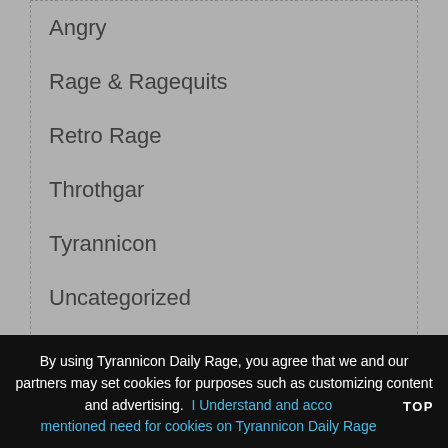Angry
Rage & Ragequits
Retro Rage
Throthgar
Tyrannicon
Uncategorized
Tags
By using Tyrannicon Daily Rage, you agree that we and our partners may set cookies for purposes such as customizing content and advertising.  I Understand and accept mentioned need for cookies on Tyrannicon Daily Rage